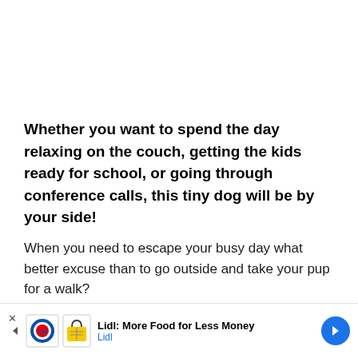Whether you want to spend the day relaxing on the couch, getting the kids ready for school, or going through conference calls, this tiny dog will be by your side!
When you need to escape your busy day what better excuse than to go outside and take your pup for a walk?
Although this breed is not a working breed they will still ne
[Figure (other): Lidl advertisement banner at bottom of page: Lidl logo, basket icon, text 'Lidl: More Food for Less Money' and 'Lidl', with blue navigation arrow on right]